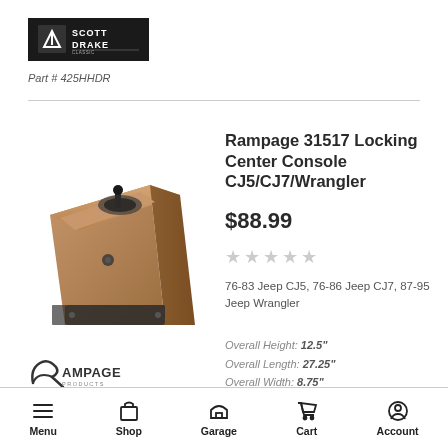[Figure (logo): Scott Drake logo in black rectangle]
Part # 425HHDR
[Figure (photo): Brown/tan locking center console product photo - Rampage 31517]
Rampage 31517 Locking Center Console CJ5/CJ7/Wrangler
$88.99
[Figure (other): Five empty/unfilled star rating icons]
76-83 Jeep CJ5, 76-86 Jeep CJ7, 87-95 Jeep Wrangler
Overall Height: 12.5"
Overall Length: 27.25"
Overall Width: 8.75"
Color: Spice
[Figure (logo): Rampage Products brand logo]
Part # 77331517
Menu  Shop  Garage  Cart  Account